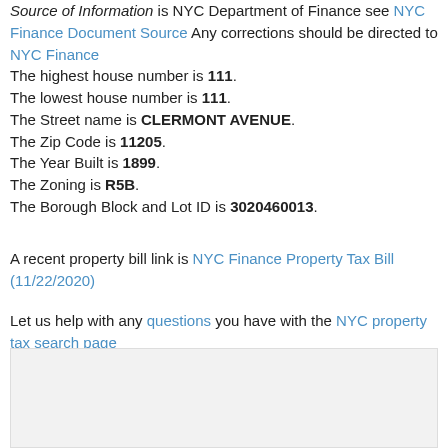Source of Information is NYC Department of Finance see NYC Finance Document Source Any corrections should be directed to NYC Finance The highest house number is 111. The lowest house number is 111. The Street name is CLERMONT AVENUE. The Zip Code is 11205. The Year Built is 1899. The Zoning is R5B. The Borough Block and Lot ID is 3020460013.
A recent property bill link is NYC Finance Property Tax Bill (11/22/2020)
Let us help with any questions you have with the NYC property tax search page
[Figure (other): Light gray empty box area at the bottom of the page]